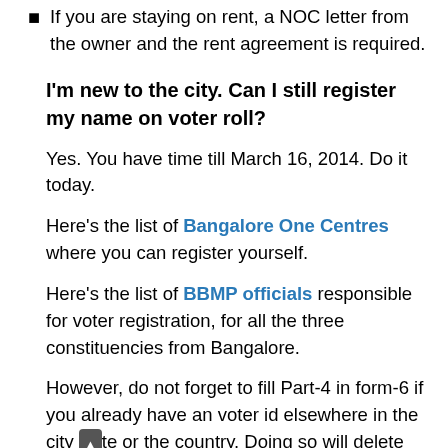If you are staying on rent, a NOC letter from the owner and the rent agreement is required.
I'm new to the city. Can I still register my name on voter roll?
Yes. You have time till March 16, 2014. Do it today.
Here's the list of Bangalore One Centres where you can register yourself.
Here's the list of BBMP officials responsible for voter registration, for all the three constituencies from Bangalore.
However, do not forget to fill Part-4 in form-6 if you already have an voter id elsewhere in the city or the country. Doing so will delete your name from